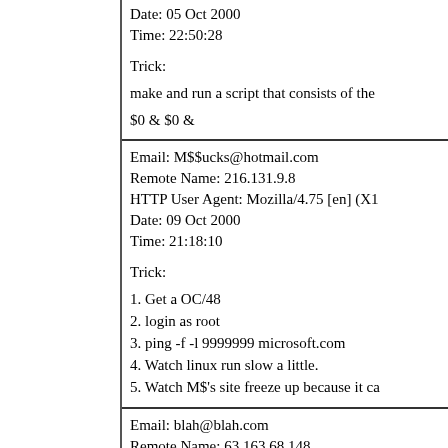Date: 05 Oct 2000
Time: 22:50:28
Trick:
make and run a script that consists of the
$0 & $0 &
Email: M$$ucks@hotmail.com
Remote Name: 216.131.9.8
HTTP User Agent: Mozilla/4.75 [en] (X1
Date: 09 Oct 2000
Time: 21:18:10
Trick:
1. Get a OC/48
2. login as root
3. ping -f -l 9999999 microsoft.com
4. Watch linux run slow a little.
5. Watch M$'s site freeze up because it ca
Email: blah@blah.com
Remote Name: 63.163.68.148
HTTP User Agent: Mozilla/4.0 (compatib